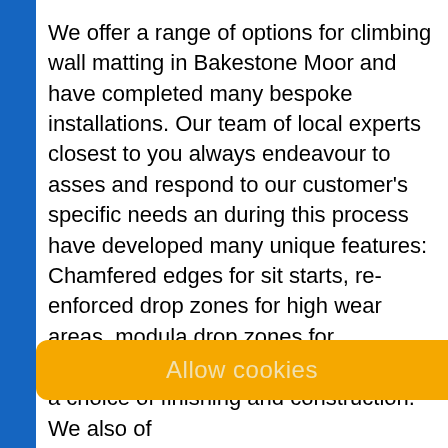We offer a range of options for climbing wall matting in Bakestone Moor and have completed many bespoke installations. Our team of local experts closest to you always endeavour to assess and respond to our customer's specific needs and during this process have developed many unique features: Chamfered edges for sit starts, re-enforced drop zones for high wear areas, modular drop zones for interchangeability, extra carpet wear-sheets, bonded carpet tops to create smoother surfaces and carpet covered pads for added protection are just a few of our innovations.
Most bouldering walls up to 4.5metres require 300mm matting to conform to BMC safety guidelines, however, training rooms and smaller
Allow cookies
a choice of finishing and construction. We also of